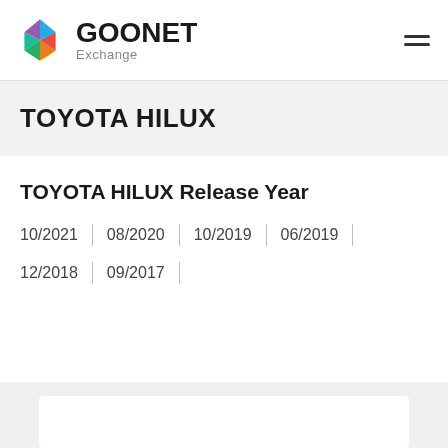GOONET Exchange
TOYOTA HILUX
TOYOTA HILUX Release Year
10/2021
08/2020
10/2019
06/2019
12/2018
09/2017